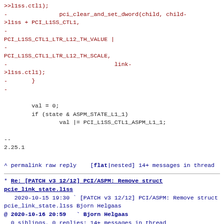>l1ss.ctl1);
-               pci_clear_and_set_dword(child, child->l1ss + PCI_L1SS_CTL1,
-
PCI_L1SS_CTL1_LTR_L12_TH_VALUE |
-
PCI_L1SS_CTL1_LTR_L12_TH_SCALE,
-                               link->l1ss.ctl1);
-       }
-
val = 0;
        if (state & ASPM_STATE_L1_1)
                val |= PCI_L1SS_CTL1_ASPM_L1_1;
--
2.25.1
^ permalink raw reply    [flat|nested] 14+ messages in thread
* Re: [PATCH v3 12/12] PCI/ASPM: Remove struct pcie_link_state.l1ss
   2020-10-15 19:30 ` [PATCH v3 12/12] PCI/ASPM: Remove struct pcie_link_state.l1ss Bjorn Helgaas
@ 2020-10-16 20:59   ` Bjorn Helgaas
  0 siblings, 0 replies; 14+ messages in thread
From: Bjorn Helgaas @ 2020-10-16 20:59 UTC (permalink / raw)